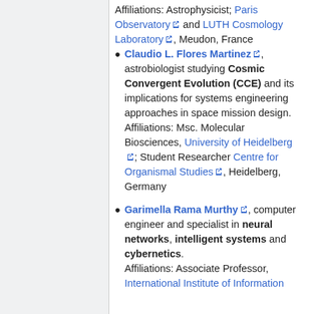Affiliations: Astrophysicist; Paris Observatory and LUTH Cosmology Laboratory, Meudon, France
Claudio L. Flores Martinez, astrobiologist studying Cosmic Convergent Evolution (CCE) and its implications for systems engineering approaches in space mission design. Affiliations: Msc. Molecular Biosciences, University of Heidelberg; Student Researcher Centre for Organismal Studies, Heidelberg, Germany
Garimella Rama Murthy, computer engineer and specialist in neural networks, intelligent systems and cybernetics. Affiliations: Associate Professor, International Institute of Information